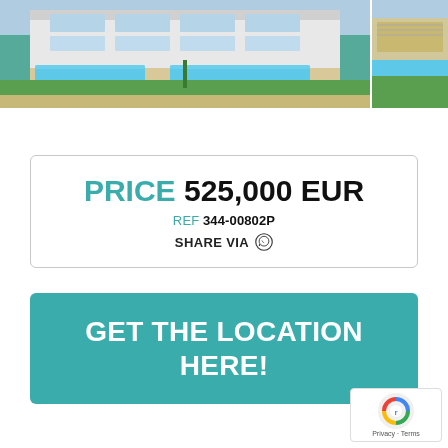[Figure (photo): Exterior photo of a modern white villa with a large swimming pool and green lawn, partially cropped]
[Figure (photo): Second partial photo of a property with pool and garden, cropped on the right edge]
PRICE 525,000 EUR
REF 344-00802P
SHARE VIA
GET THE LOCATION HERE!